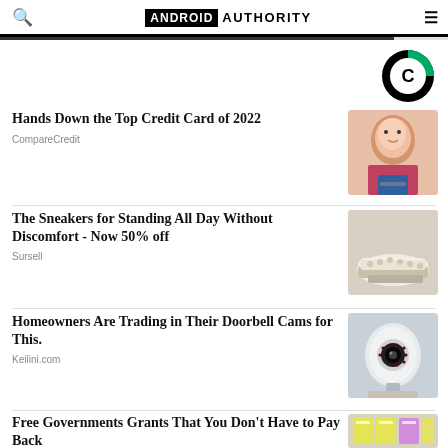ANDROID AUTHORITY
Hands Down the Top Credit Card of 2022
CompareCredit
The Sneakers for Standing All Day Without Discomfort - Now 50% off
Sursell
Homeowners Are Trading in Their Doorbell Cams for This.
Keilini.com
Free Governments Grants That You Don't Have to Pay Back